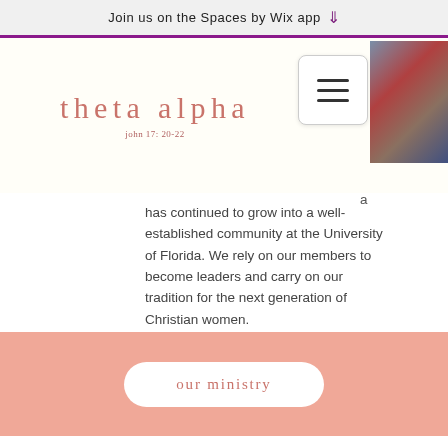Join us on the Spaces by Wix app ↓
theta alpha
john 17: 20-22
has continued to grow into a well-established community at the University of Florida. We rely on our members to become leaders and carry on our tradition for the next generation of Christian women.
[Figure (screenshot): Hamburger menu button (three horizontal lines) and a photo thumbnail of outdoor scene]
our ministry